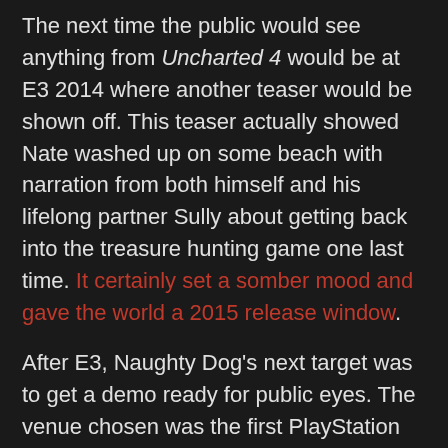The next time the public would see anything from Uncharted 4 would be at E3 2014 where another teaser would be shown off. This teaser actually showed Nate washed up on some beach with narration from both himself and his lifelong partner Sully about getting back into the treasure hunting game one last time. It certainly set a somber mood and gave the world a 2015 release window.
After E3, Naughty Dog's next target was to get a demo ready for public eyes. The venue chosen was the first PlayStation Experience, also known as PSX. On December 7, 2014, Straley kicked off the showcase with a live, 15-minute demo of Uncharted 4. It was certainly a live demo, since